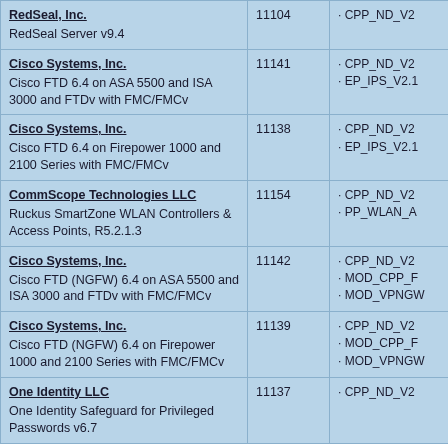| Vendor / Product | ID | Protection Profiles |
| --- | --- | --- |
| RedSeal, Inc.
RedSeal Server v9.4 | 11104 | · CPP_ND_V2 |
| Cisco Systems, Inc.
Cisco FTD 6.4 on ASA 5500 and ISA 3000 and FTDv with FMC/FMCv | 11141 | · CPP_ND_V2
· EP_IPS_V2.1 |
| Cisco Systems, Inc.
Cisco FTD 6.4 on Firepower 1000 and 2100 Series with FMC/FMCv | 11138 | · CPP_ND_V2
· EP_IPS_V2.1 |
| CommScope Technologies LLC
Ruckus SmartZone WLAN Controllers & Access Points, R5.2.1.3 | 11154 | · CPP_ND_V2
· PP_WLAN_A |
| Cisco Systems, Inc.
Cisco FTD (NGFW) 6.4 on ASA 5500 and ISA 3000 and FTDv with FMC/FMCv | 11142 | · CPP_ND_V2
· MOD_CPP_F
· MOD_VPNGW |
| Cisco Systems, Inc.
Cisco FTD (NGFW) 6.4 on Firepower 1000 and 2100 Series with FMC/FMCv | 11139 | · CPP_ND_V2
· MOD_CPP_F
· MOD_VPNGW |
| One Identity LLC
One Identity Safeguard for Privileged Passwords v6.7 | 11137 | · CPP_ND_V2 |